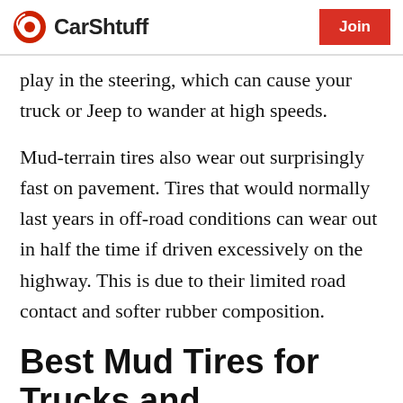CarShtuff | Join
play in the steering, which can cause your truck or Jeep to wander at high speeds.
Mud-terrain tires also wear out surprisingly fast on pavement. Tires that would normally last years in off-road conditions can wear out in half the time if driven excessively on the highway. This is due to their limited road contact and softer rubber composition.
Best Mud Tires for Trucks and Jeeps